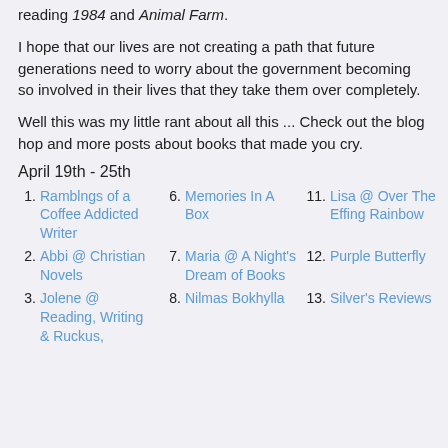reading 1984 and Animal Farm.
I hope that our lives are not creating a path that future generations need to worry about the government becoming so involved in their lives that they take them over completely.
Well this was my little rant about all this ... Check out the blog hop and more posts about books that made you cry.
April 19th - 25th
1. Ramblngs of a Coffee Addicted Writer
6. Memories In A Box
11. Lisa @ Over The Effing Rainbow
2. Abbi @ Christian Novels
7. Maria @ A Night's Dream of Books
12. Purple Butterfly
3. Jolene @ Reading, Writing & Ruckus,
8. Nilmas Bokhylla
13. Silver's Reviews